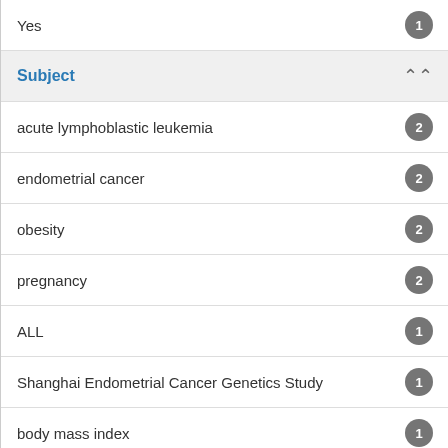Yes 1
Subject
acute lymphoblastic leukemia 2
endometrial cancer 2
obesity 2
pregnancy 2
ALL 1
Shanghai Endometrial Cancer Genetics Study 1
body mass index 1
breast cancer 1
case-control study 1